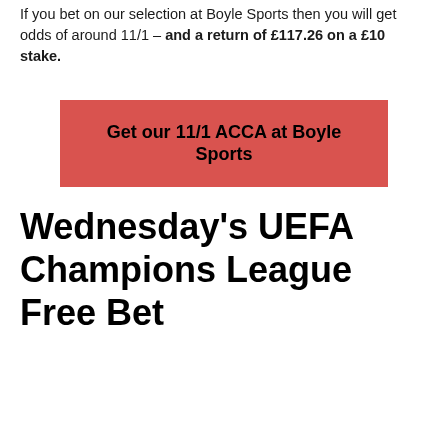If you bet on our selection at Boyle Sports then you will get odds of around 11/1 – and a return of £117.26 on a £10 stake.
Get our 11/1 ACCA at Boyle Sports
Wednesday's UEFA Champions League Free Bet